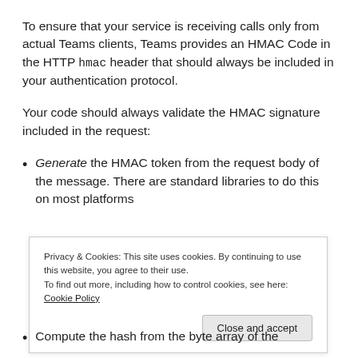To ensure that your service is receiving calls only from actual Teams clients, Teams provides an HMAC Code in the HTTP hmac header that should always be included in your authentication protocol.
Your code should always validate the HMAC signature included in the request:
Generate the HMAC token from the request body of the message. There are standard libraries to do this on most platforms
Privacy & Cookies: This site uses cookies. By continuing to use this website, you agree to their use.
To find out more, including how to control cookies, see here: Cookie Policy
Compute the hash from the byte array of the